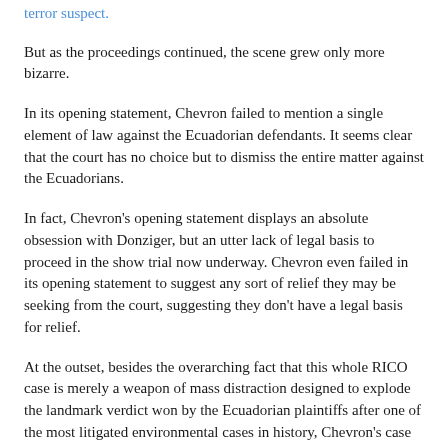terror suspect.
But as the proceedings continued, the scene grew only more bizarre.
In its opening statement, Chevron failed to mention a single element of law against the Ecuadorian defendants. It seems clear that the court has no choice but to dismiss the entire matter against the Ecuadorians.
In fact, Chevron's opening statement displays an absolute obsession with Donziger, but an utter lack of legal basis to proceed in the show trial now underway. Chevron even failed in its opening statement to suggest any sort of relief they may be seeking from the court, suggesting they don't have a legal basis for relief.
At the outset, besides the overarching fact that this whole RICO case is merely a weapon of mass distraction designed to explode the landmark verdict won by the Ecuadorian plaintiffs after one of the most litigated environmental cases in history, Chevron's case has a couple obvious major problems from a legal standpoint: the company can't meet